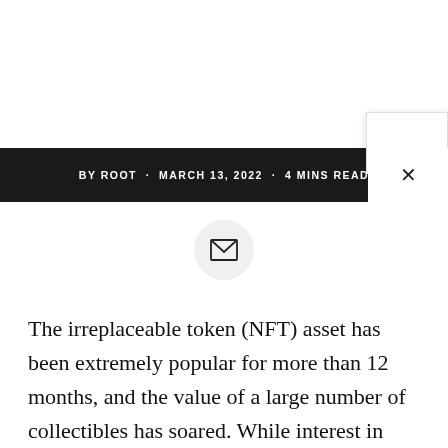BY ROOT · MARCH 13, 2022 · 4 MINS READ
[Figure (illustration): Email/envelope icon inside a circular light gray button]
The irreplaceable token (NFT) asset has been extremely popular for more than 12 months, and the value of a large number of collectibles has soared. While interest in NFTs has dropped to a four-month low, according to Google Trends search queries, there are still plenty of NFTs for sale in cryptocurrencies in